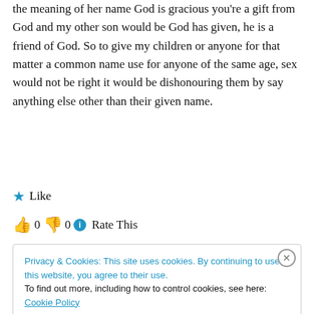the meaning of her name God is gracious you're a gift from God and my other son would be God has given, he is a friend of God. So to give my children or anyone for that matter a common name use for anyone of the same age, sex would not be right it would be dishonouring them by say anything else other than their given name.
★ Like
👍 0  👎 0  ℹ Rate This
Privacy & Cookies: This site uses cookies. By continuing to use this website, you agree to their use. To find out more, including how to control cookies, see here: Cookie Policy
Close and accept